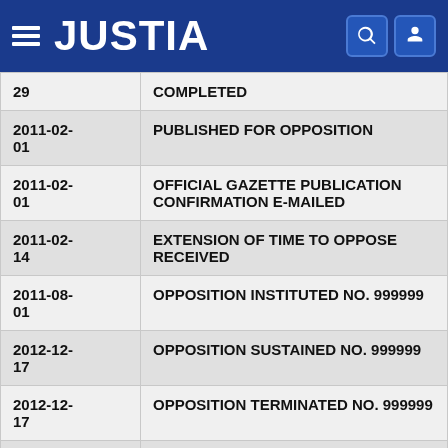JUSTIA
| Date | Description |
| --- | --- |
| 29 | COMPLETED |
| 2011-02-01 | PUBLISHED FOR OPPOSITION |
| 2011-02-01 | OFFICIAL GAZETTE PUBLICATION CONFIRMATION E-MAILED |
| 2011-02-14 | EXTENSION OF TIME TO OPPOSE RECEIVED |
| 2011-08-01 | OPPOSITION INSTITUTED NO. 999999 |
| 2012-12-17 | OPPOSITION SUSTAINED NO. 999999 |
| 2012-12-17 | OPPOSITION TERMINATED NO. 999999 |
| 2012-12- | ABANDONMENT - AFTER INTER PARTES |